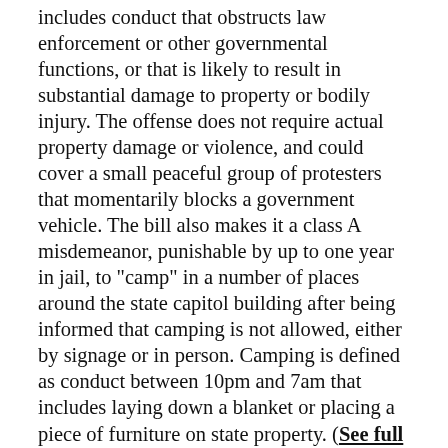includes conduct that obstructs law enforcement or other governmental functions, or that is likely to result in substantial damage to property or bodily injury. The offense does not require actual property damage or violence, and could cover a small peaceful group of protesters that momentarily blocks a government vehicle. The bill also makes it a class A misdemeanor, punishable by up to one year in jail, to "camp" in a number of places around the state capitol building after being informed that camping is not allowed, either by signage or in person. Camping is defined as conduct between 10pm and 7am that includes laying down a blanket or placing a piece of furniture on state property. (See full text of bill here)